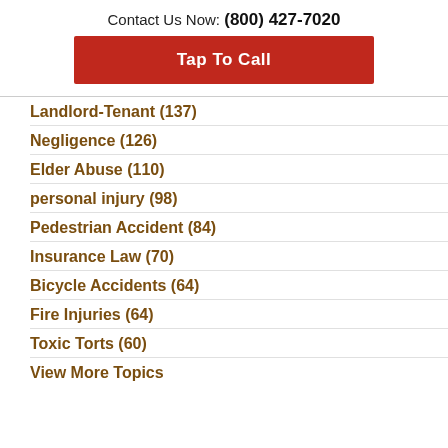Contact Us Now: (800) 427-7020
Tap To Call
Landlord-Tenant (137)
Negligence (126)
Elder Abuse (110)
personal injury (98)
Pedestrian Accident (84)
Insurance Law (70)
Bicycle Accidents (64)
Fire Injuries (64)
Toxic Torts (60)
View More Topics